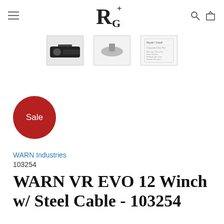R+G logo, navigation icons
[Figure (photo): Three product thumbnail images showing WARN VR EVO 12 winch from different angles and a specs sheet]
[Figure (other): Red circular Sale badge]
WARN Industries
103254
WARN VR EVO 12 Winch w/ Steel Cable - 103254